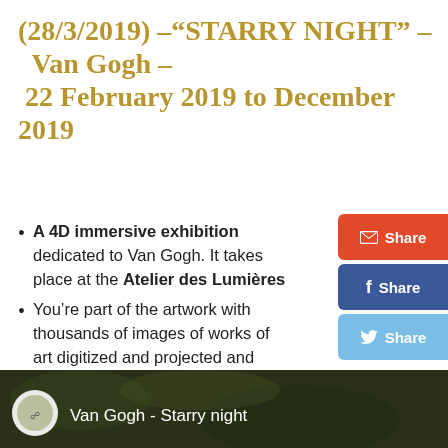(28/3/2019) –“STARRY NIGHT” – Van Gogh – 22 February 2019 to December 2019
A 4D immersive exhibition dedicated to Van Gogh. It takes place at the Atelier des Lumières
You’re part of the artwork with thousands of images of works of art digitized and projected and animated to the rhythm of the music.
[Figure (screenshot): Bottom portion of a video thumbnail showing a dark painting background with text 'Van Gogh - Starry night' and a circular logo on the left, overlaid on what appears to be a dark Van Gogh artwork background.]